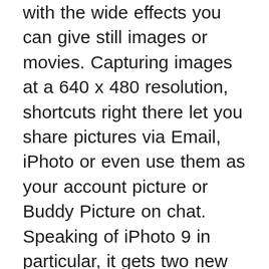with the wide effects you can give still images or movies. Capturing images at a 640 x 480 resolution, shortcuts right there let you share pictures via Email, iPhoto or even use them as your account picture or Buddy Picture on chat. Speaking of iPhoto 9 in particular, it gets two new attributes worth mentioning Faces and Places. While the former makes for an enthusing way to organize friends and family using their names, Places requires you to be armed with a GPS support though you can also choose to only label the place manually